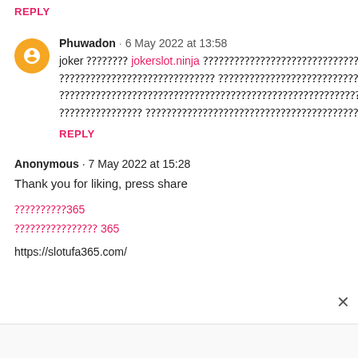REPLY
Phuwadon · 6 May 2022 at 13:58
joker 🀄🀄🀄🀄 jokerslot.ninja 🀄🀄🀄🀄🀄🀄🀄🀄🀄🀄🀄🀄🀄🀄🀄🀄🀄🀄 🀄🀄🀄🀄🀄🀄🀄🀄🀄🀄🀄🀄🀄🀄🀄 🀄🀄🀄🀄🀄🀄🀄🀄🀄🀄🀄🀄🀄🀄🀄🀄🀄 🀄🀄 🀄🀄🀄🀄🀄🀄🀄🀄🀄🀄🀄🀄🀄🀄🀄🀄🀄🀄🀄🀄🀄🀄🀄🀄🀄🀄🀄🀄🀄🀄🀄🀄🀄🀄🀄🀄🀄🀄🀄🀄🀄🀄🀄🀄🀄🀄🀄🀄🀄🀄 🀄🀄🀄🀄🀄🀄🀄🀄🀄🀄🀄🀄🀄🀄🀄🀄🀄🀄🀄🀄🀄🀄🀄🀄🀄🀄🀄🀄🀄🀄🀄🀄🀄.
REPLY
Anonymous · 7 May 2022 at 15:28
Thank you for liking, press share
🀄🀄🀄🀄🀄365
🀄🀄🀄🀄🀄🀄🀄🀄 365
https://slotufa365.com/